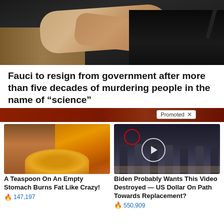[Figure (photo): Photo of hands clasped together, with a suit jacket visible, dark background]
Fauci to resign from government after more than five decades of murdering people in the name of “science”
[Figure (other): Promotional banner bar - Promoted X label with reddish-brown background]
[Figure (photo): Ad image left: A Teaspoon On An Empty Stomach Burns Fat Like Crazy! - fitness and spice photo]
A Teaspoon On An Empty Stomach Burns Fat Like Crazy!
🔥 147,197
[Figure (photo): Ad image right: Biden Probably Wants This Video Destroyed - US Dollar On Path Towards Replacement? - group of people in suits photo]
Biden Probably Wants This Video Destroyed — US Dollar On Path Towards Replacement?
🔥 550,909